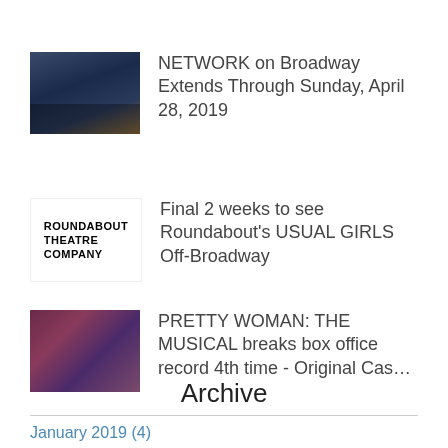NETWORK on Broadway Extends Through Sunday, April 28, 2019
Final 2 weeks to see Roundabout's USUAL GIRLS Off-Broadway
PRETTY WOMAN: THE MUSICAL breaks box office record 4th time - Original Cas…
Archive
January 2019 (4)